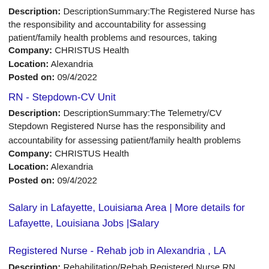Description: DescriptionSummary:The Registered Nurse has the responsibility and accountability for assessing patient/family health problems and resources, taking
Company: CHRISTUS Health
Location: Alexandria
Posted on: 09/4/2022
RN - Stepdown-CV Unit
Description: DescriptionSummary:The Telemetry/CV Stepdown Registered Nurse has the responsibility and accountability for assessing patient/family health problems
Company: CHRISTUS Health
Location: Alexandria
Posted on: 09/4/2022
Salary in Lafayette, Louisiana Area | More details for Lafayette, Louisiana Jobs |Salary
Registered Nurse - Rehab job in Alexandria , LA
Description: Rehabilitation/Rehab Registered Nurse RN Travel Job br As a Rehab Registered Nurse, you will assist individuals with disability and/or chronic illness to attain and maintain maximum static